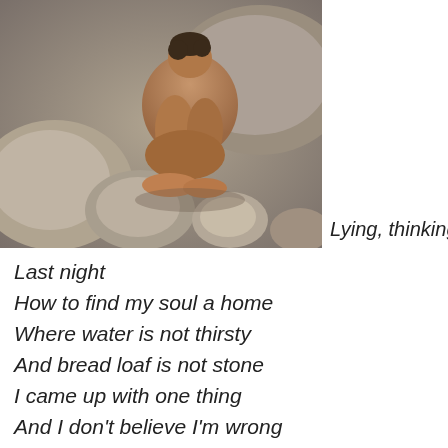[Figure (photo): A person crouched in a fetal position among large rounded rocks, appearing distressed or contemplative, photographed outdoors in natural light.]
Lying, thinking
Last night
How to find my soul a home
Where water is not thirsty
And bread loaf is not stone
I came up with one thing
And I don't believe I'm wrong
That nobody,
But nobody